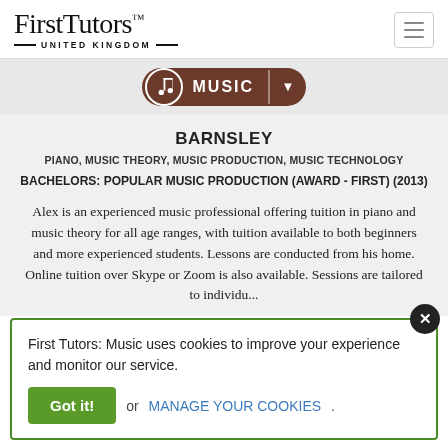[Figure (logo): FirstTutors United Kingdom logo with serif wordmark and horizontal rules]
MUSIC
BARNSLEY
PIANO, MUSIC THEORY, MUSIC PRODUCTION, MUSIC TECHNOLOGY
BACHELORS: POPULAR MUSIC PRODUCTION (AWARD - FIRST) (2013)
Alex is an experienced music professional offering tuition in piano and music theory for all age ranges, with tuition available to both beginners and more experienced students. Lessons are conducted from his home. Online tuition over Skype or Zoom is also available. Sessions are tailored to individu...
First Tutors: Music uses cookies to improve your experience and monitor our service.